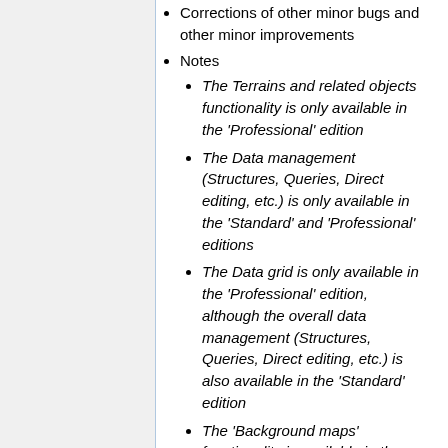Corrections of other minor bugs and other minor improvements
Notes
The Terrains and related objects functionality is only available in the 'Professional' edition
The Data management (Structures, Queries, Direct editing, etc.) is only available in the 'Standard' and 'Professional' editions
The Data grid is only available in the 'Professional' edition, although the overall data management (Structures, Queries, Direct editing, etc.) is also available in the 'Standard' edition
The 'Background maps' functionality is available in the